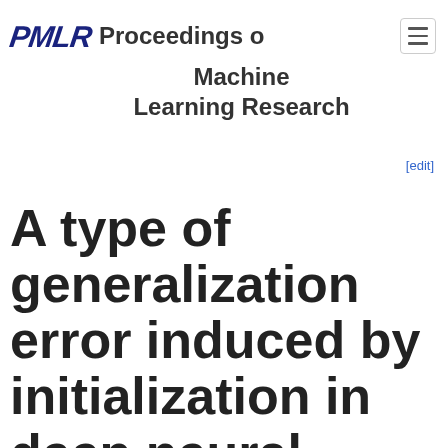PMLR Proceedings of Machine Learning Research
[edit]
A type of generalization error induced by initialization in deep neural networks